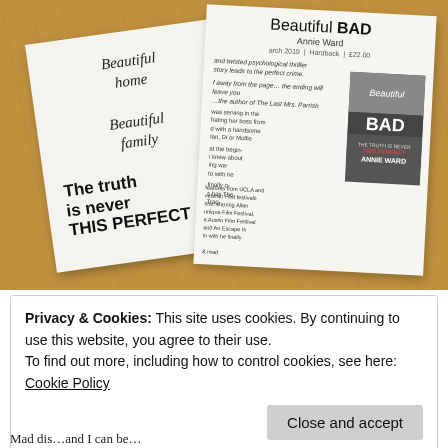[Figure (photo): Photograph on a wooden surface showing a white book cover for 'Beautiful Bad' by Annie Ward, displaying text 'Beautiful home Beautiful family The truth is never THIS PERFECT', alongside a promotional sheet for the same book showing the cover image, title, author name, and marketing copy.]
Privacy & Cookies: This site uses cookies. By continuing to use this website, you agree to their use.
To find out more, including how to control cookies, see here: Cookie Policy
Close and accept